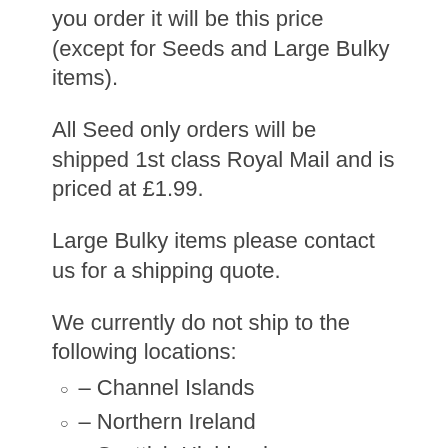you order it will be this price (except for Seeds and Large Bulky items).
All Seed only orders will be shipped 1st class Royal Mail and is priced at £1.99.
Large Bulky items please contact us for a shipping quote.
We currently do not ship to the following locations:
– Channel Islands
– Northern Ireland
– Scottish Highlands
– Scottish Islands
– Isle of Man
– Isle of Wight